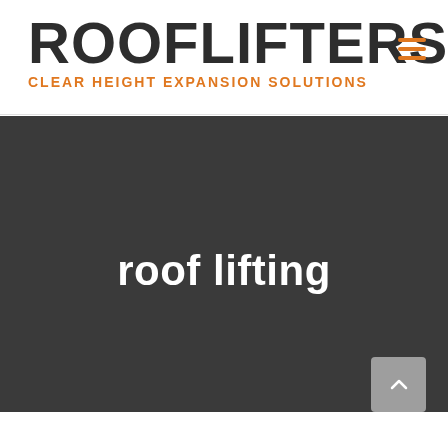ROOFLIFTERS
CLEAR HEIGHT EXPANSION SOLUTIONS
[Figure (other): Hamburger menu icon with three orange horizontal lines]
roof lifting
[Figure (other): Grey back-to-top button with white upward chevron arrow]